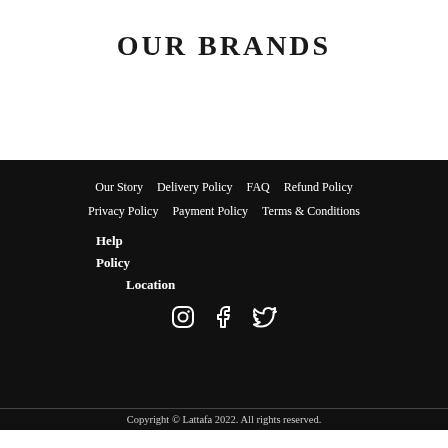OUR BRANDS
Our Story
Delivery Policy
FAQ
Refund Policy
Privacy Policy
Payment Policy
Terms & Conditions
Help
Policy
Location
[Figure (other): Social media icons: Instagram, Facebook, Twitter]
Copyright © Lattafa 2022. All rights reserved.